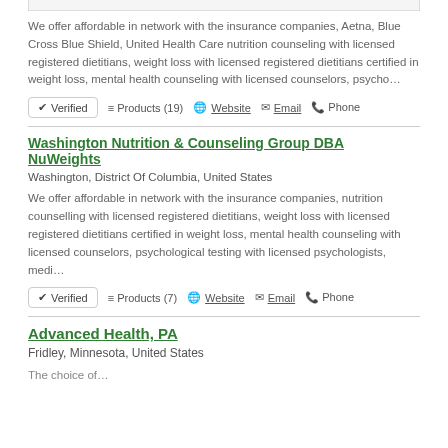We offer affordable in network with the insurance companies, Aetna, Blue Cross Blue Shield, United Health Care nutrition counseling with licensed registered dietitians, weight loss with licensed registered dietitians certified in weight loss, mental health counseling with licensed counselors, psycho…
✔ Verified   ≡ Products (19)   🌐 Website   ✉ Email   📞 Phone
Washington Nutrition & Counseling Group DBA NuWeights
Washington, District Of Columbia, United States
We offer affordable in network with the insurance companies, nutrition counselling with licensed registered dietitians, weight loss with licensed registered dietitians certified in weight loss, mental health counseling with licensed counselors, psychological testing with licensed psychologists, medi…
✔ Verified   ≡ Products (7)   🌐 Website   ✉ Email   📞 Phone
Advanced Health, PA
Fridley, Minnesota, United States